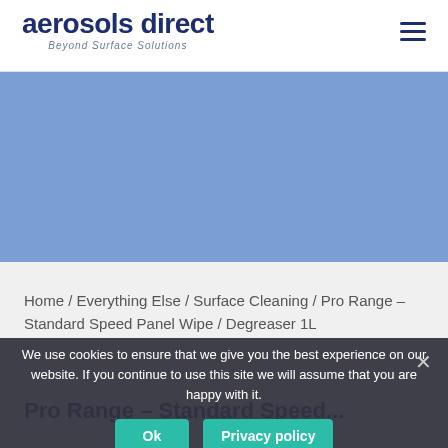aerosols direct — Beyond Surface Solutions
[Figure (illustration): Blue/steel-blue banner area placeholder image]
Home / Everything Else / Surface Cleaning / Pro Range – Standard Speed Panel Wipe / Degreaser 1L
Pro Range – Standard Speed...
We use cookies to ensure that we give you the best experience on our website. If you continue to use this site we will assume that you are happy with it.